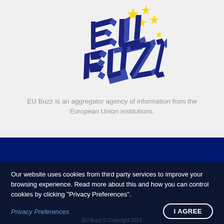[Figure (logo): EU Buzz logo with bold blue 3D-style letters 'EU BUZZ' and yellow EU stars on a light gray background]
EU Buzz is an aggregator agency of information from the European Union institutions.
Our website uses cookies from third party services to improve your browsing experience. Read more about this and how you can control cookies by clicking "Privacy Preferences".
Privacy Preferences
I AGREE
EU Buzz © Copyright 2021